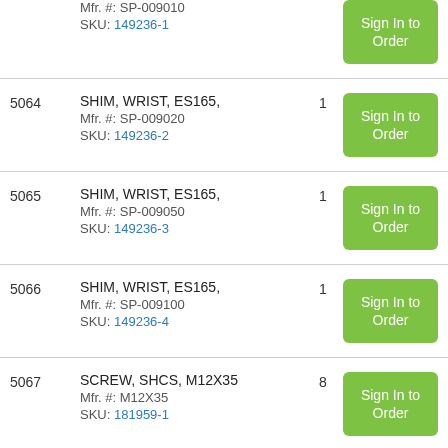| Item | Description | Qty | Action |
| --- | --- | --- | --- |
|  | Mfr. #: SP-009010
SKU: 149236-1 |  | Sign In to Order |
| 5064 | SHIM, WRIST, ES165,
Mfr. #: SP-009020
SKU: 149236-2 | 1 | Sign In to Order |
| 5065 | SHIM, WRIST, ES165,
Mfr. #: SP-009050
SKU: 149236-3 | 1 | Sign In to Order |
| 5066 | SHIM, WRIST, ES165,
Mfr. #: SP-009100
SKU: 149236-4 | 1 | Sign In to Order |
| 5067 | SCREW, SHCS, M12X35
Mfr. #: M12X35
SKU: 181959-1 | 8 | Sign In to Order |